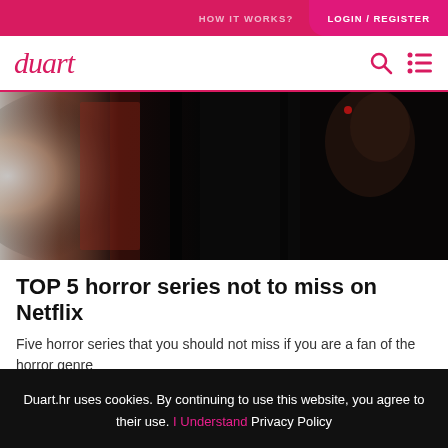HOW IT WORKS?  LOGIN / REGISTER
duart
[Figure (photo): Dark horror scene showing a monster or creature illuminated from the left, with reddish dramatic lighting]
TOP 5 horror series not to miss on Netflix
Five horror series that you should not miss if you are a fan of the horror genre
26-03-2020 Momir Rajšić
Duart.hr uses cookies. By continuing to use this website, you agree to their use. I Understand Privacy Policy